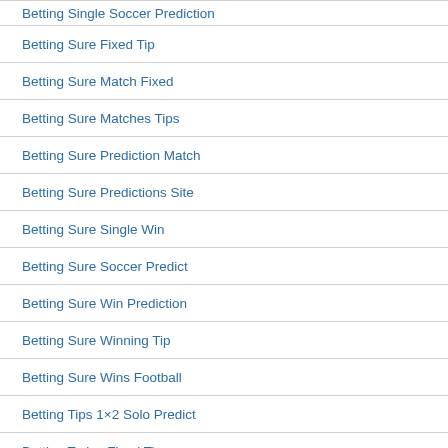Betting Single Soccer Prediction
Betting Sure Fixed Tip
Betting Sure Match Fixed
Betting Sure Matches Tips
Betting Sure Prediction Match
Betting Sure Predictions Site
Betting Sure Single Win
Betting Sure Soccer Predict
Betting Sure Win Prediction
Betting Sure Winning Tip
Betting Sure Wins Football
Betting Tips 1×2 Solo Predict
Betting Today Fixed Tip
Betting Today Sure Predictions
Betting Vip Fixed Tips